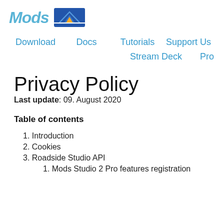Mods [logo icon]
Download   Docs   Tutorials   Support Us
Stream Deck   Pro
Privacy Policy
Last update: 09. August 2020
Table of contents
1. Introduction
2. Cookies
3. Roadside Studio API
1. Mods Studio 2 Pro features registration